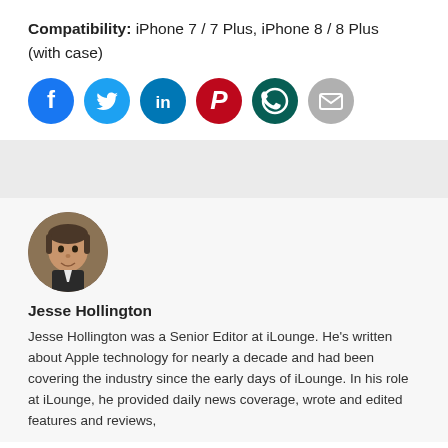Compatibility: iPhone 7 / 7 Plus, iPhone 8 / 8 Plus (with case)
[Figure (infographic): Row of 6 social sharing icons: Facebook (blue), Twitter (light blue), LinkedIn (dark blue), Pinterest (red), WhatsApp (dark green), Email (gray)]
[Figure (photo): Circular portrait photo of Jesse Hollington, a man smiling slightly, with short brown hair, dark jacket]
Jesse Hollington
Jesse Hollington was a Senior Editor at iLounge. He's written about Apple technology for nearly a decade and had been covering the industry since the early days of iLounge. In his role at iLounge, he provided daily news coverage, wrote and edited features and reviews,